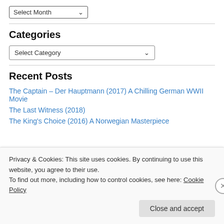[Figure (screenshot): A dropdown UI element labeled 'Select Month' with a downward chevron arrow, rendered as a form control with border.]
Categories
[Figure (screenshot): A dropdown UI element labeled 'Select Category' with a downward chevron arrow, rendered as a form control with border.]
Recent Posts
The Captain – Der Hauptmann (2017) A Chilling German WWII Movie
The Last Witness (2018)
The King's Choice (2016) A Norwegian Masterpiece
Privacy & Cookies: This site uses cookies. By continuing to use this website, you agree to their use.
To find out more, including how to control cookies, see here: Cookie Policy
Close and accept